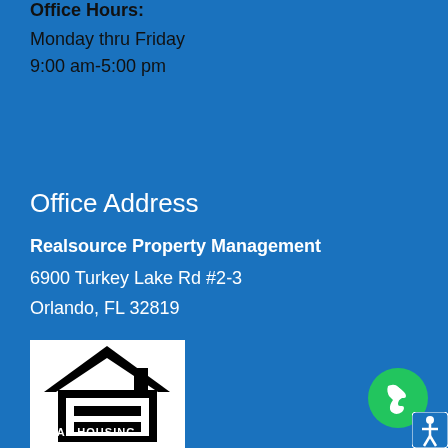Office Hours:
Monday thru Friday
9:00 am-5:00 pm
Office Address
Realsource Property Management
6900 Turkey Lake Rd #2-3
Orlando, FL 32819
[Figure (logo): Equal Housing Opportunity logo — black house silhouette with equal sign inside, on white background]
EQUAL HOUSING
[Figure (illustration): Green phone call button (circular green button with white phone handset icon)]
[Figure (illustration): Blue accessibility button with white stick figure icon]